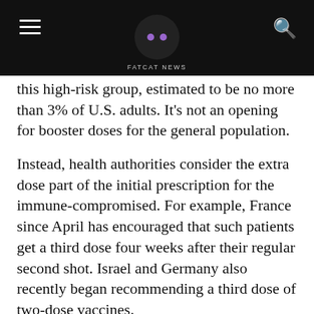FATCAT NEWS
this high-risk group, estimated to be no more than 3% of U.S. adults. It's not an opening for booster doses for the general population.
Instead, health authorities consider the extra dose part of the initial prescription for the immune-compromised. For example, France since April has encouraged that such patients get a third dose four weeks after their regular second shot. Israel and Germany also recently began recommending a third dose of two-dose vaccines.
Separately, U.S. health officials are continuing to closely monitor if and when average people's immunity wanes enough to require boosters for everyone — but for now, the